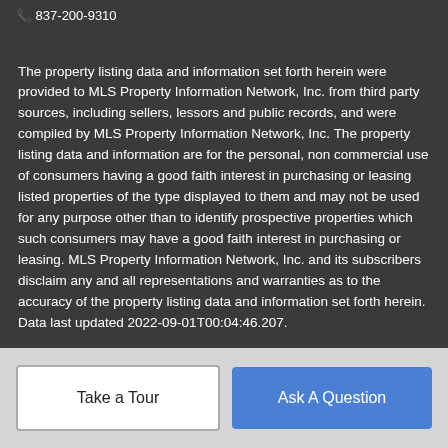837-200-9310
The property listing data and information set forth herein were provided to MLS Property Information Network, Inc. from third party sources, including sellers, lessors and public records, and were compiled by MLS Property Information Network, Inc. The property listing data and information are for the personal, non commercial use of consumers having a good faith interest in purchasing or leasing listed properties of the type displayed to them and may not be used for any purpose other than to identify prospective properties which such consumers may have a good faith interest in purchasing or leasing. MLS Property Information Network, Inc. and its subscribers disclaim any and all representations and warranties as to the accuracy of the property listing data and information set forth herein. Data last updated 2022-09-01T00:04:46.207.
Take a Tour
Ask A Question